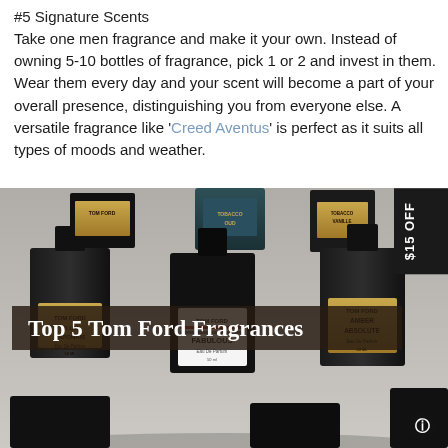#5 Signature Scents
Take one men fragrance and make it your own. Instead of owning 5-10 bottles of fragrance, pick 1 or 2 and invest in them. Wear them every day and your scent will become a part of your overall presence, distinguishing you from everyone else. A versatile fragrance like 'Creed Aventus' is perfect as it suits all types of moods and weather.
[Figure (photo): Multiple dark Tom Ford fragrance bottles arranged on a light surface, with an overlay title reading 'Top 5 Tom Ford Fragrances'. Visible bottles include Tom Ford Plum Japonais, Tom Ford Fabulous, and Tom Ford Amber Absolute. A $15 OFF promotional tab appears on the right edge.]